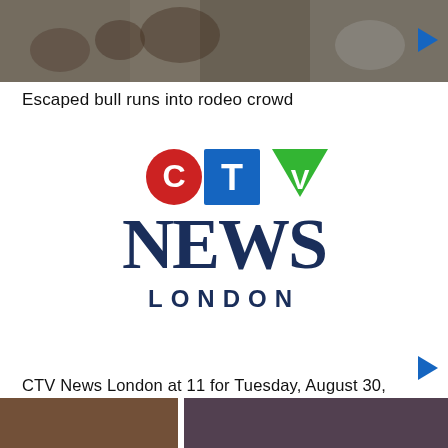[Figure (photo): Crowd scene at a rodeo event, partially visible at top of page with a play button overlay]
Escaped bull runs into rodeo crowd
[Figure (logo): CTV News London logo with red C circle, blue T square, green V triangle above large serif NEWS text and LONDON below]
CTV News London at 11 for Tuesday, August 30, 2022
[Figure (photo): Two partial thumbnail images at the bottom of the page]